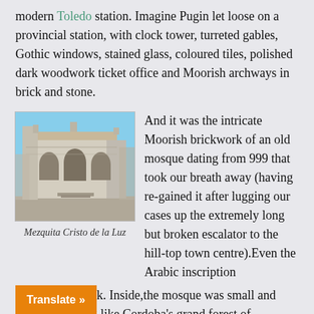modern Toledo station. Imagine Pugin let loose on a provincial station, with clock tower, turreted gables, Gothic windows, stained glass, coloured tiles, polished dark woodwork ticket office and Moorish archways in brick and stone.
[Figure (photo): Photograph of Mezquita Cristo de la Luz, showing ornate Moorish brickwork facade of an old mosque building against a blue sky.]
Mezquita Cristo de la Luz
And it was the intricate Moorish brickwork of an old mosque dating from 999 that took our breath away (having re-gained it after lugging our cases up the extremely long but broken escalator to the hill-top town centre).Even the Arabic inscription was in brickwork. Inside,the mosque was small and delicate(nothing like Cordoba's grand forest of columns). The Christians who later reconquered the city used it as the nave of a small church, adding an apse with matching Moorish arches. It still has fragments of paintings, – the usual Christ in Majesty on th[e]… angelists and some saints; but have you ever
Translate »